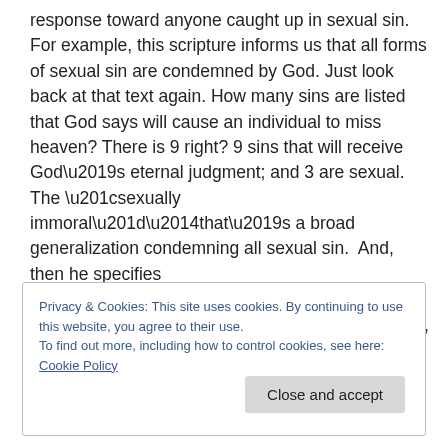response toward anyone caught up in sexual sin. For example, this scripture informs us that all forms of sexual sin are condemned by God. Just look back at that text again. How many sins are listed that God says will cause an individual to miss heaven? There is 9 right? 9 sins that will receive God’s eternal judgment; and 3 are sexual. The “sexually immoral”—that’s a broad generalization condemning all sexual sin.  And, then he specifies “adulterers”—that’s sex between a man & a moan outside of marriage. And, then “anyone practicing homosexuality.”
Privacy & Cookies: This site uses cookies. By continuing to use this website, you agree to their use.
To find out more, including how to control cookies, see here: Cookie Policy